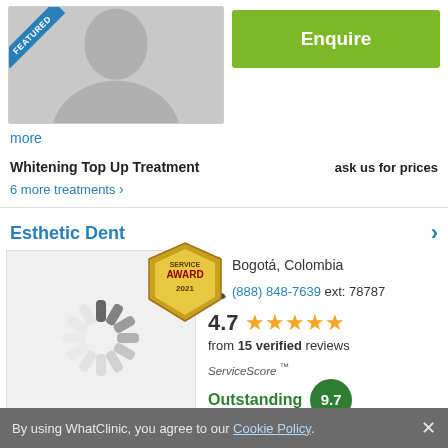[Figure (photo): Dental clinic featured image with blue FEATURED ribbon in top-left corner]
Enquire
more
Whitening Top Up Treatment    ask us for prices
6 more treatments ›
Esthetic Dent
[Figure (photo): Loading spinner / placeholder image for Esthetic Dent clinic, with Service Award 2021 badge overlay]
Bogotá, Colombia
(888) 848-7639 ext: 78787
4.7 ★★★★★ from 15 verified reviews
ServiceScore™ Outstanding 9.7 from 176 users
By using WhatClinic, you agree to our Cookie Policy. ×